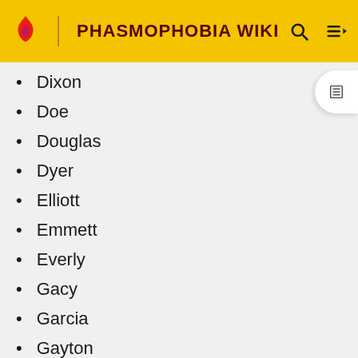PHASMOPHOBIA WIKI
Dixon
Doe
Douglas
Dyer
Elliott
Emmett
Everly
Gacy
Garcia
Gayton
Hans
Harris
Hill
Holland